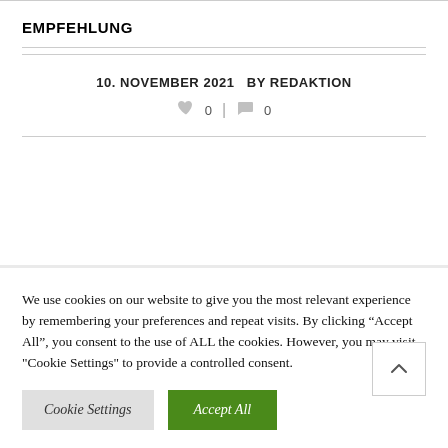EMPFEHLUNG
10. NOVEMBER 2021   BY REDAKTION
♥ 0  | 💬 0
We use cookies on our website to give you the most relevant experience by remembering your preferences and repeat visits. By clicking “Accept All”, you consent to the use of ALL the cookies. However, you may visit "Cookie Settings" to provide a controlled consent.